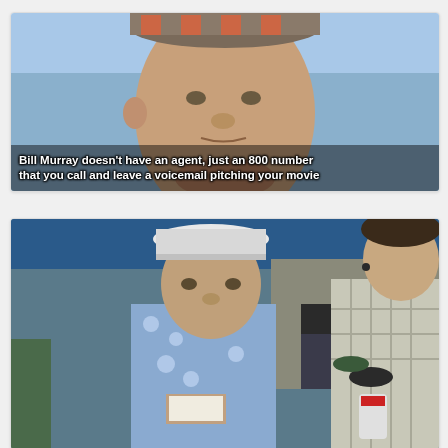[Figure (photo): Close-up photo of Bill Murray wearing a striped cap, looking to the side outdoors with blurred background. Text overlay at bottom reads: 'Bill Murray doesn't have an agent, just an 800 number that you call and leave a voicemail pitching your movie']
[Figure (photo): Photo of Bill Murray wearing a white bucket hat and a blue floral Hawaiian shirt, standing outdoors talking to a man in a plaid shirt, with camera crew and crowd visible in background.]